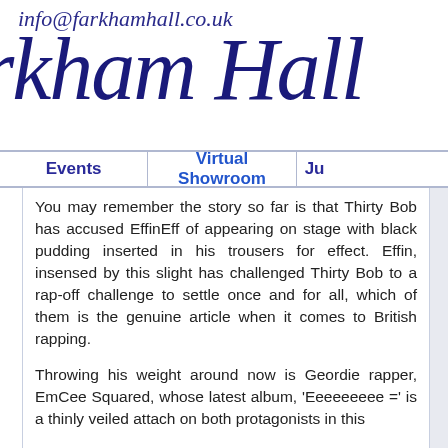info@farkhamhall.co.uk
rkham Hall
Events | Virtual Showroom | Ju
You may remember the story so far is that Thirty Bob has accused EffinEff of appearing on stage with black pudding inserted in his trousers for effect. Effin, insensed by this slight has challenged Thirty Bob to a rap-off challenge to settle once and for all, which of them is the genuine article when it comes to British rapping.

Throwing his weight around now is Geordie rapper, EmCee Squared, whose latest album, 'Eeeeeeeee =' is a thinly veiled attach on both protagonists in this
Use of cookies. Mouse over here for details